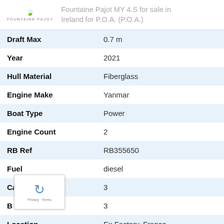Fountaine Pajot MY 4.S for sale in Ireland for P.O.A. (P.O.A.)
| Attribute | Value |
| --- | --- |
| Draft Max | 0.7 m |
| Year | 2021 |
| Hull Material | Fiberglass |
| Engine Make | Yanmar |
| Boat Type | Power |
| Engine Count | 2 |
| RB Ref | RB355650 |
| Fuel | diesel |
| Cabins | 3 |
| Berths | 3 |
| Location | Ex Factory, France |